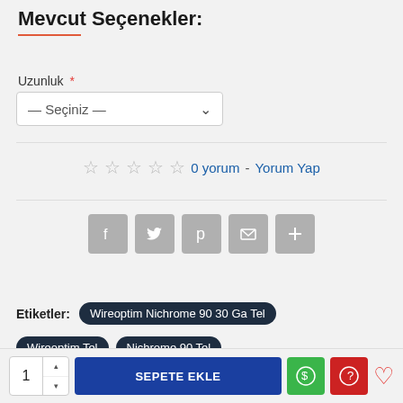Mevcut Seçenekler:
Uzunluk *
— Seçiniz —
0 yorum - Yorum Yap
[Figure (infographic): Social share buttons: Facebook, Twitter, Pinterest, Email, Plus]
Etiketler: Wireoptim Nichrome 90 30 Ga Tel
Wireoptim Tel
Nichrome 90 Tel
1  SEPETE EKLE